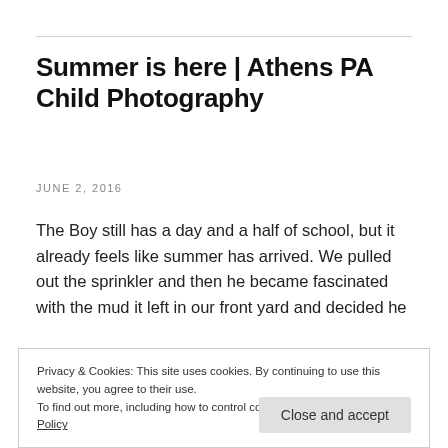Summer is here | Athens PA Child Photography
JUNE 2, 2016
The Boy still has a day and a half of school, but it already feels like summer has arrived. We pulled out the sprinkler and then he became fascinated with the mud it left in our front yard and decided he
Privacy & Cookies: This site uses cookies. By continuing to use this website, you agree to their use.
To find out more, including how to control cookies, see here: Cookie Policy
my son is moving toward his tenth birthday this